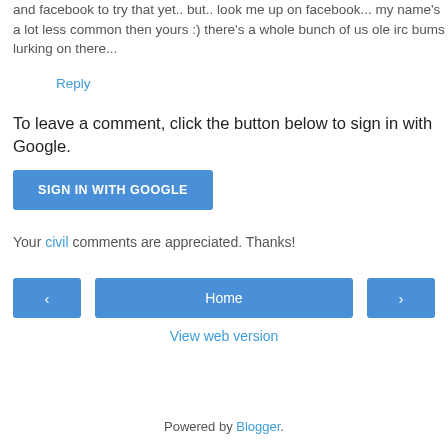and facebook to try that yet.. but.. look me up on facebook... my name's a lot less common then yours :) there's a whole bunch of us ole irc bums lurking on there...
Reply
To leave a comment, click the button below to sign in with Google.
[Figure (other): Blue button labeled SIGN IN WITH GOOGLE]
Your civil comments are appreciated. Thanks!
[Figure (other): Navigation bar with previous arrow button, Home button, and next arrow button]
View web version
Powered by Blogger.